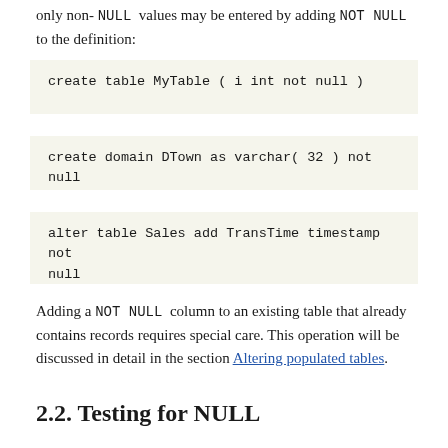only non- NULL values may be entered by adding NOT NULL to the definition:
Adding a NOT NULL column to an existing table that already contains records requires special care. This operation will be discussed in detail in the section Altering populated tables.
2.2. Testing for NULL